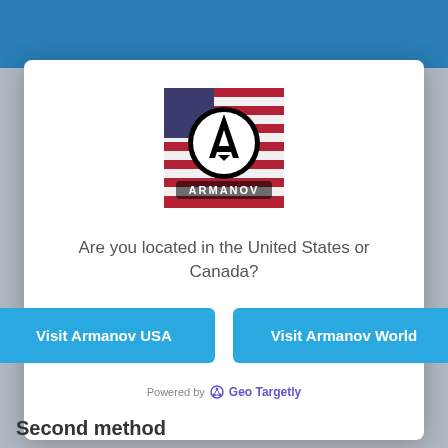[Figure (screenshot): Blue top navigation bar of a website]
[Figure (logo): Armanov logo: US flag background with a circular A logo and ARMANOV text]
Are you located in the United States or Canada?
Visit Armanov USA
Visit Armanov World
Powered by  Geo Targetly
Second method